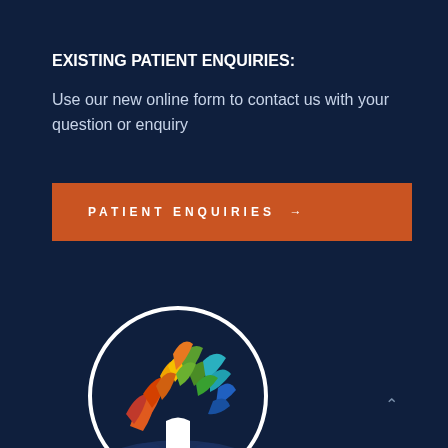EXISTING PATIENT ENQUIRIES:
Use our new online form to contact us with your question or enquiry
PATIENT ENQUIRIES →
[Figure (logo): Melbourne Paediatric Specialists logo — colorful tree in a circle (leaves in orange, yellow, green, teal, blue; white trunk; dark navy base) above the text 'melbourne paediatric specialists AT THE CHILDREN'S']